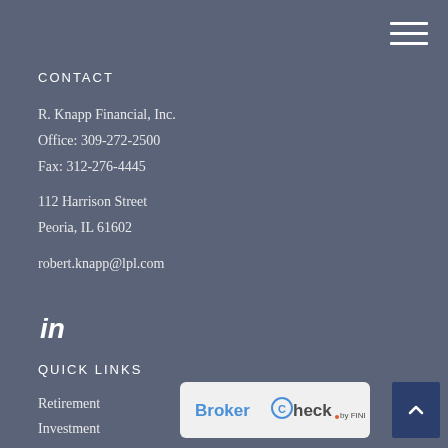CONTACT
R. Knapp Financial, Inc.
Office: 309-272-2500
Fax: 312-276-4445
112 Harrison Street
Peoria, IL 61602
robert.knapp@lpl.com
[Figure (logo): LinkedIn logo icon (in)]
QUICK LINKS
Retirement
Investment
[Figure (logo): BrokerCheck by FINRA logo on light grey rounded rectangle background]